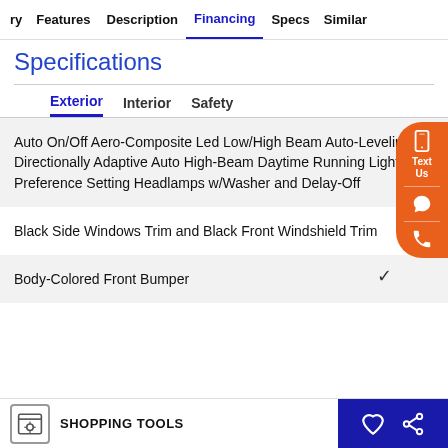ry   Features   Description   Financing   Specs   Similar
Specifications
Exterior   Interior   Safety
Auto On/Off Aero-Composite Led Low/High Beam Auto-Leveling Directionally Adaptive Auto High-Beam Daytime Running Lights Preference Setting Headlamps w/Washer and Delay-Off
Black Side Windows Trim and Black Front Windshield Trim
Body-Colored Front Bumper
SHOPPING TOOLS